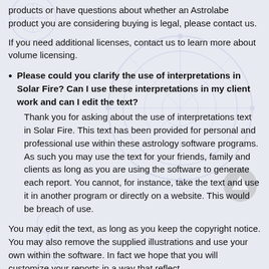products or have questions about whether an Astrolabe product you are considering buying is legal, please contact us.
If you need additional licenses, contact us to learn more about volume licensing.
Please could you clarify the use of interpretations in Solar Fire? Can I use these interpretations in my client work and can I edit the text?
Thank you for asking about the use of interpretations text in Solar Fire. This text has been provided for personal and professional use within these astrology software programs. As such you may use the text for your friends, family and clients as long as you are using the software to generate each report. You cannot, for instance, take the text and use it in another program or directly on a website. This would be breach of use.
You may edit the text, as long as you keep the copyright notice. You may also remove the supplied illustrations and use your own within the software. In fact we hope that you will customize your reports in a way that reflect